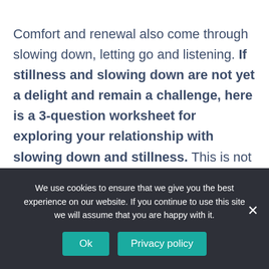Comfort and renewal also come through slowing down, letting go and listening. If stillness and slowing down are not yet a delight and remain a challenge, here is a 3-question worksheet for exploring your relationship with slowing down and stillness. This is not a test and
We use cookies to ensure that we give you the best experience on our website. If you continue to use this site we will assume that you are happy with it.